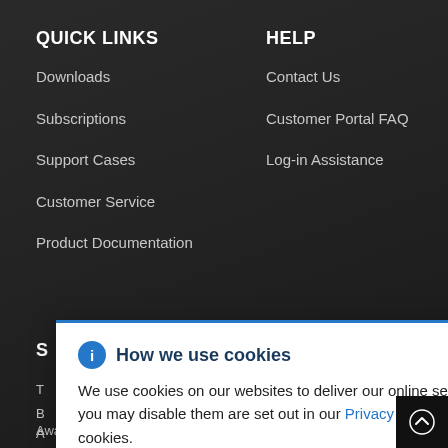QUICK LINKS
Downloads
Subscriptions
Support Cases
Customer Service
Product Documentation
HELP
Contact Us
Customer Portal FAQ
Log-in Assistance
[Figure (screenshot): Cookie consent modal popup with blue info icon, title 'How we use cookies', close button (×), and body text explaining cookie usage with a link to Privacy Statement. White background with blue top border.]
We use cookies on our websites to deliver our online services. Details about how we use cookies and how you may disable them are set out in our Privacy Statement. By using this website you agree to our use of cookies.
Awards and Recognition
cloud.redhat.com